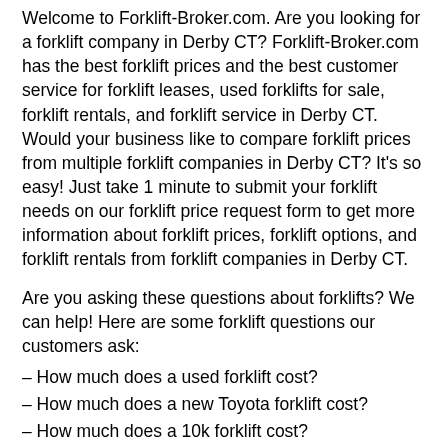Welcome to Forklift-Broker.com. Are you looking for a forklift company in Derby CT? Forklift-Broker.com has the best forklift prices and the best customer service for forklift leases, used forklifts for sale, forklift rentals, and forklift service in Derby CT. Would your business like to compare forklift prices from multiple forklift companies in Derby CT? It's so easy! Just take 1 minute to submit your forklift needs on our forklift price request form to get more information about forklift prices, forklift options, and forklift rentals from forklift companies in Derby CT.
Are you asking these questions about forklifts? We can help! Here are some forklift questions our customers ask:
– How much does a used forklift cost?
– How much does a new Toyota forklift cost?
– How much does a 10k forklift cost?
– How much does a new forklift cost?
– How much is a Yale forklift?